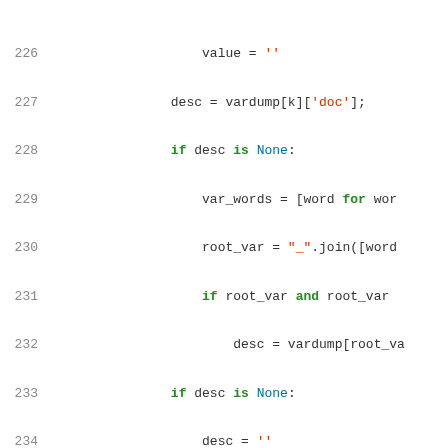[Figure (screenshot): Python source code editor view showing lines 226-255 with syntax highlighting. Code includes variable assignments, a class definition BuildInfoHelper, docstring, and __init__ method.]